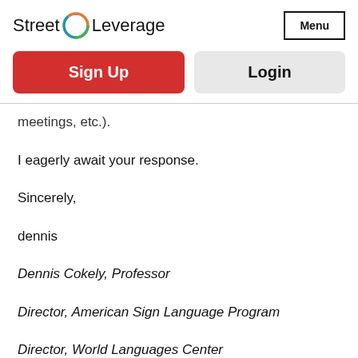[Figure (logo): Street Leverage logo with circular icon and Menu button]
Sign Up
Login
meetings, etc.).
I eagerly await your response.
Sincerely,
dennis
Dennis Cokely, Professor
Director, American Sign Language Program
Director, World Languages Center